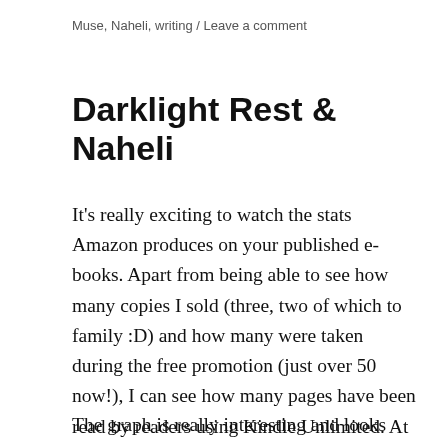Muse, Naheli, writing / Leave a comment
Darklight Rest & Naheli
It's really exciting to watch the stats Amazon produces on your published e-books. Apart from being able to see how many copies I sold (three, two of which to family :D) and how many were taken during the free promotion (just over 50 now!), I can see how many pages have been read by readers using Kindle Unlimited. At least, I think that's what it is — still learning my way around this!
The graph is really interesting and looks like